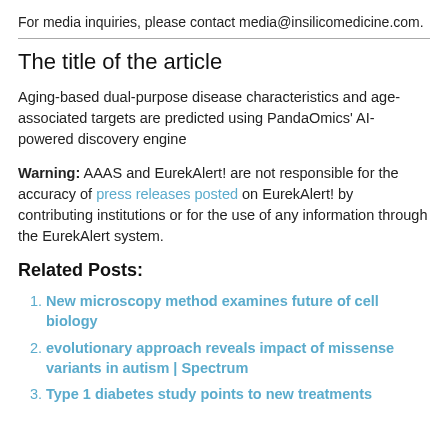For media inquiries, please contact media@insilicomedicine.com.
The title of the article
Aging-based dual-purpose disease characteristics and age-associated targets are predicted using PandaOmics' AI-powered discovery engine
Warning: AAAS and EurekAlert! are not responsible for the accuracy of press releases posted on EurekAlert! by contributing institutions or for the use of any information through the EurekAlert system.
Related Posts:
New microscopy method examines future of cell biology
evolutionary approach reveals impact of missense variants in autism | Spectrum
Type 1 diabetes study points to new treatments